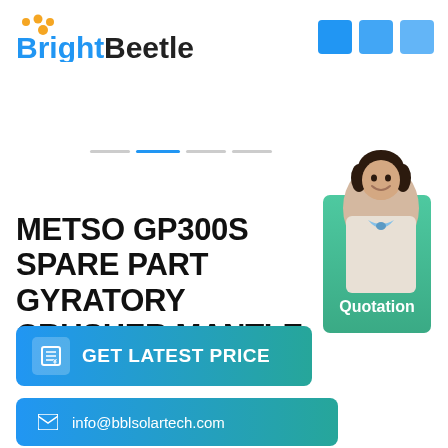[Figure (logo): BrightBeetle logo with orange paw dots above 'Bright' in blue and 'Beetle' in dark gray]
[Figure (other): Three blue square icons in top right corner]
[Figure (other): Slider navigation dots — dashes in gray with one blue active dash]
[Figure (photo): Woman in business attire smiling, overlaid on green card with Online Quotation text]
METSO GP300S SPARE PART GYRATORY CRUSHER MANTLE
GET LATEST PRICE
info@bblsolartech.com